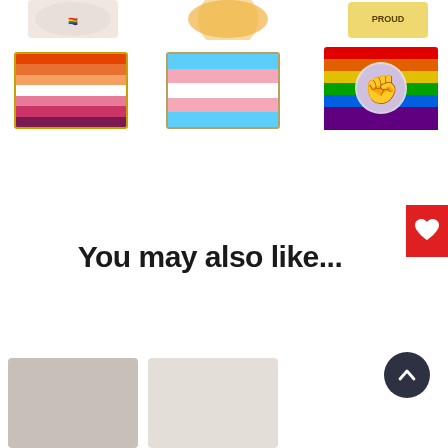[Figure (photo): Three partially visible pride/novelty enamel pins at top: left with rainbow/flower design, center circular with colorful design, right with 'PROUD' banner design]
[Figure (photo): Lesbian pride flag enamel pin: horizontal stripes orange, light orange, white, pink, magenta, burgundy with gold border]
[Figure (photo): Transgender pride flag enamel pin: horizontal stripes light blue, pink, white, pink, light blue with gold border]
[Figure (photo): Progress pride / BLM fist flag enamel pin: rainbow stripes with circular fist raised emblem in center]
[Figure (illustration): Red wishlist heart button on right edge]
You may also like...
[Figure (photo): Dark navy circular back-to-top arrow button]
[Figure (photo): Partially visible product images at bottom of page]